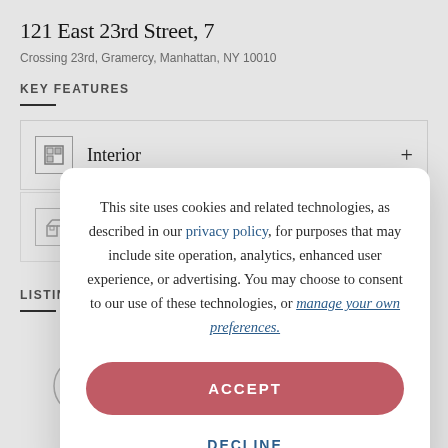121 East 23rd Street, 7
Crossing 23rd, Gramercy, Manhattan, NY 10010
KEY FEATURES
Interior
Oth
LISTING AG
[Figure (screenshot): Cookie consent modal dialog overlaying a real estate listing page. Modal text reads: 'This site uses cookies and related technologies, as described in our privacy policy, for purposes that may include site operation, analytics, enhanced user experience, or advertising. You may choose to consent to our use of these technologies, or manage your own preferences.' Two buttons: ACCEPT (red/pink pill button) and DECLINE (blue text).]